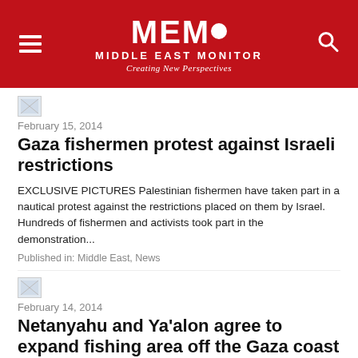MEMO MIDDLE EAST MONITOR — Creating New Perspectives
[Figure (photo): Broken image placeholder thumbnail for article 1]
February 15, 2014
Gaza fishermen protest against Israeli restrictions
EXCLUSIVE PICTURES Palestinian fishermen have taken part in a nautical protest against the restrictions placed on them by Israel. Hundreds of fishermen and activists took part in the demonstration...
Published in: Middle East, News
[Figure (photo): Broken image placeholder thumbnail for article 2]
February 14, 2014
Netanyahu and Ya'alon agree to expand fishing area off the Gaza coast
The Israeli authorities announced on Tuesday that it would return